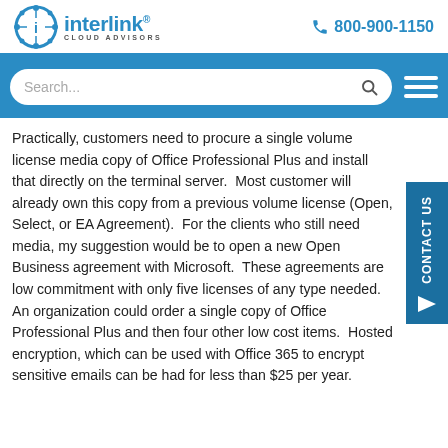interlink CLOUD ADVISORS — 800-900-1150
Practically, customers need to procure a single volume license media copy of Office Professional Plus and install that directly on the terminal server. Most customer will already own this copy from a previous volume license (Open, Select, or EA Agreement). For the clients who still need media, my suggestion would be to open a new Open Business agreement with Microsoft. These agreements are low commitment with only five licenses of any type needed. An organization could order a single copy of Office Professional Plus and then four other low cost items. Hosted encryption, which can be used with Office 365 to encrypt sensitive emails can be had for less than $25 per year.